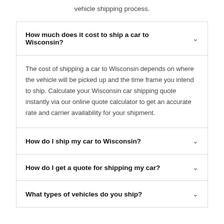vehicle shipping process.
How much does it cost to ship a car to Wisconsin?
The cost of shipping a car to Wisconsin depends on where the vehicle will be picked up and the time frame you intend to ship. Calculate your Wisconsin car shipping quote instantly via our online quote calculator to get an accurate rate and carrier availability for your shipment.
How do I ship my car to Wisconsin?
How do I get a quote for shipping my car?
What types of vehicles do you ship?